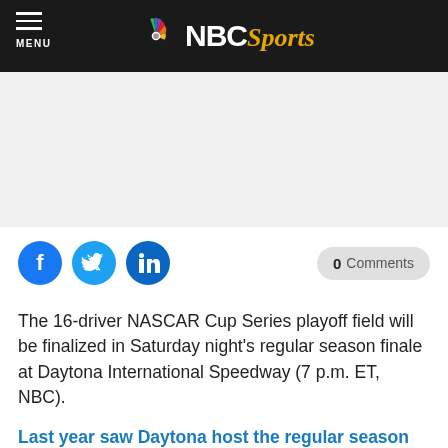NBC Sports
[Figure (logo): NBC Sports logo with peacock icon and NBC Sports wordmark on dark background]
[Figure (other): Advertisement area (blank/gray)]
[Figure (infographic): Social sharing icons: Facebook, Twitter, LinkedIn, and a 0 Comments button]
The 16-driver NASCAR Cup Series playoff field will be finalized in Saturday night's regular season finale at Daytona International Speedway (7 p.m. ET, NBC).
Last year saw Daytona host the regular season finale for the first time. William Byron scored his first career Cup win to make the playoffs, while Clint Bowyer and